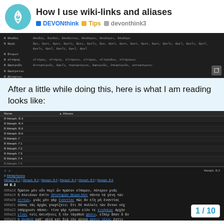How I use wiki-links and aliases — DEVONthink | Tips | devonthink3
[Figure (screenshot): Dark themed DEVONthink database screenshot showing Greek word list with aliases columns]
After a little while doing this, here is what I am reading looks like:
[Figure (screenshot): Dark themed DEVONthink view showing Metaphysics book sections (Metaph. B.3, B.4, B.6, B.6, Γ, Γ.1, Γ.2, Γ.3, Γ.4, Γ.5) with detail panel showing Greek text of Metaph. B.2 with hyperlinks, breadcrumbs, and Aristotle text with line references 996a18-996a28]
1 / 10